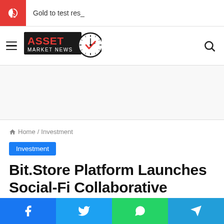Gold to test res_
[Figure (logo): Asset Market News logo with clock icon]
Home / Investment
Investment
Bit.Store Platform Launches Social-Fi Collaborative